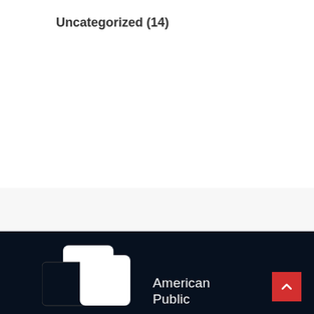Uncategorized (14)
[Figure (logo): American Public University logo with interlocking squares and text 'American Public']